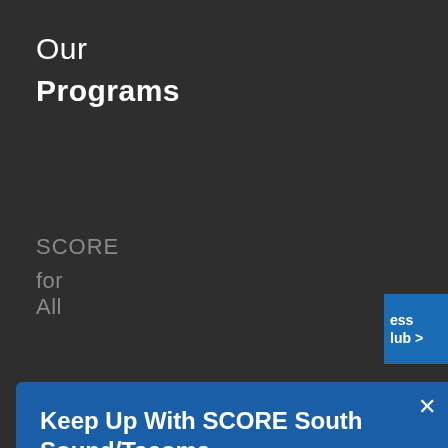Our Programs
SCORE
for All
[Figure (screenshot): Blue modal popup overlay on dark background with close button (×), title 'Keep Up With SCORE South Sound/Tacoma', body text 'Join our list and stay up-to-date with our live webinars designed to help you start and grow a successful business.', email address input field, and SUBMIT button]
Conference
Get Involved